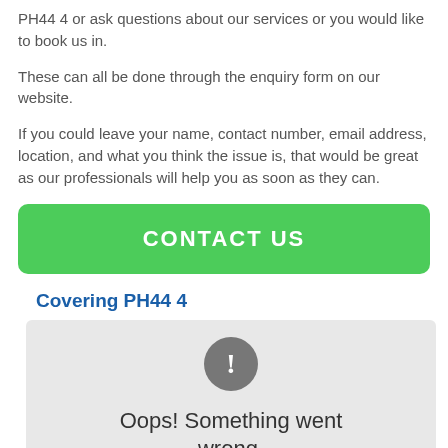PH44 4 or ask questions about our services or you would like to book us in.
These can all be done through the enquiry form on our website.
If you could leave your name, contact number, email address, location, and what you think the issue is, that would be great as our professionals will help you as soon as they can.
CONTACT US
Covering PH44 4
[Figure (other): Map error box showing grey background with exclamation icon and text 'Oops! Something went wrong.']